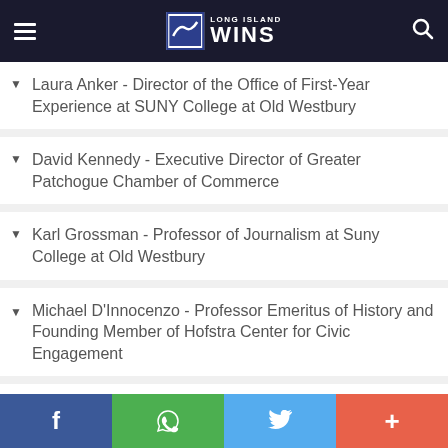Long Island Wins
Laura Anker - Director of the Office of First-Year Experience at SUNY College at Old Westbury
David Kennedy - Executive Director of Greater Patchogue Chamber of Commerce
Karl Grossman - Professor of Journalism at Suny College at Old Westbury
Michael D'Innocenzo - Professor Emeritus of History and Founding Member of Hofstra Center for Civic Engagement
Aashish Kumar - MFA, Associate Professor, RTVF Department School of Communication...
f  WhatsApp  Twitter  +